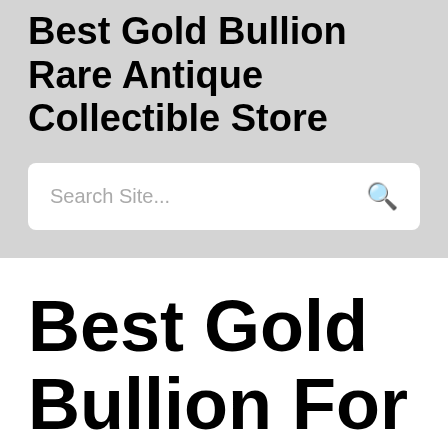Best Gold Bullion Rare Antique Collectible Store
Search Site...
Best Gold Bullion For